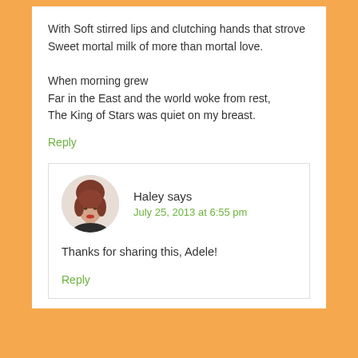With Soft stirred lips and clutching hands that strove
Sweet mortal milk of more than mortal love.

When morning grew
Far in the East and the world woke from rest,
The King of Stars was quiet on my breast.
Reply
[Figure (photo): Avatar photo of a woman named Haley with short reddish-brown hair and red lipstick]
Haley says
July 25, 2013 at 6:55 pm
Thanks for sharing this, Adele!
Reply